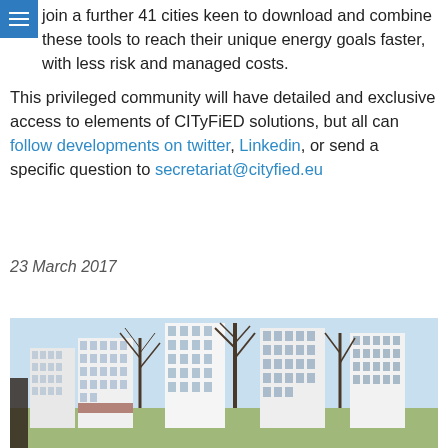join a further 41 cities keen to download and combine these tools to reach their unique energy goals faster, with less risk and managed costs.

This privileged community will have detailed and exclusive access to elements of CITyFiED solutions, but all can follow developments on twitter, Linkedin, or send a specific question to secretariat@cityfied.eu
23 March 2017
[Figure (photo): Urban city scene with tall white residential apartment buildings and bare winter trees against a light blue sky]